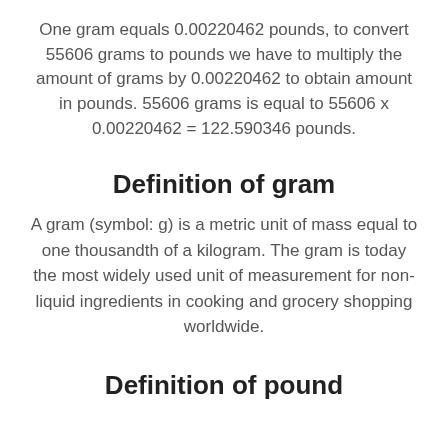One gram equals 0.00220462 pounds, to convert 55606 grams to pounds we have to multiply the amount of grams by 0.00220462 to obtain amount in pounds. 55606 grams is equal to 55606 x 0.00220462 = 122.590346 pounds.
Definition of gram
A gram (symbol: g) is a metric unit of mass equal to one thousandth of a kilogram. The gram is today the most widely used unit of measurement for non-liquid ingredients in cooking and grocery shopping worldwide.
Definition of pound